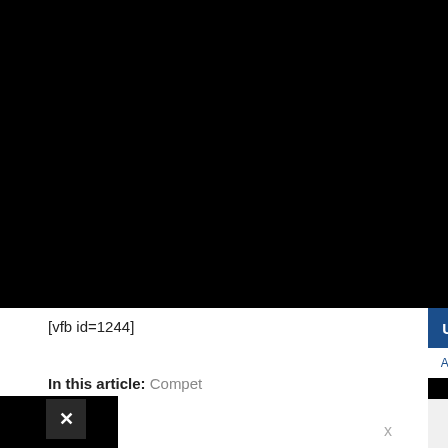[Figure (screenshot): Black video player area at top of page]
[vfb id=1244]
Up Next - John Boyega on Disney's D... ×
Ad 1 of 1 (0:30)   Learn More
In this article: Compet... Ryan Gosling, The Nice
× (close button)
x